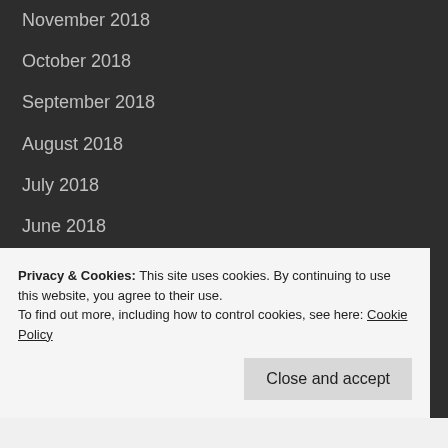November 2018
October 2018
September 2018
August 2018
July 2018
June 2018
May 2018
April 2018
February 2018
Privacy & Cookies: This site uses cookies. By continuing to use this website, you agree to their use.
To find out more, including how to control cookies, see here: Cookie Policy